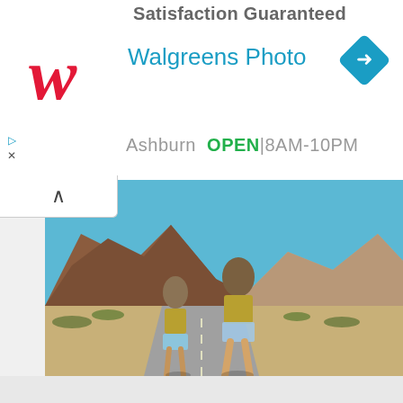Satisfaction Guaranteed
[Figure (logo): Walgreens red cursive W logo]
Walgreens Photo
[Figure (other): Blue diamond navigation/directions icon with right-turn arrow]
Ashburn  OPEN 8AM-10PM
[Figure (photo): Two young women in denim shorts and crop tops walking toward camera on a desert road with mountains and blue sky in background]